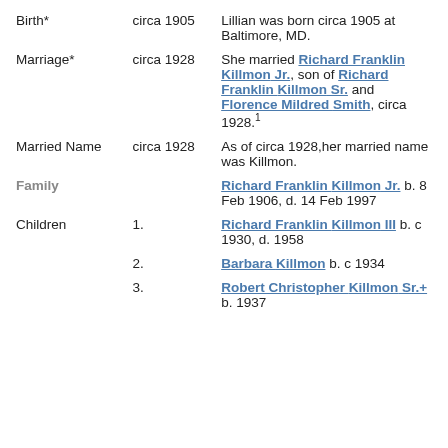| Event | Date | Description |
| --- | --- | --- |
| Birth* | circa 1905 | Lillian was born circa 1905 at Baltimore, MD. |
| Marriage* | circa 1928 | She married Richard Franklin Killmon Jr., son of Richard Franklin Killmon Sr. and Florence Mildred Smith, circa 1928.1 |
| Married Name | circa 1928 | As of circa 1928,her married name was Killmon. |
| Family |  | Richard Franklin Killmon Jr. b. 8 Feb 1906, d. 14 Feb 1997 |
| Children | 1. | Richard Franklin Killmon III b. c 1930, d. 1958 |
|  | 2. | Barbara Killmon b. c 1934 |
|  | 3. | Robert Christopher Killmon Sr.+ b. 1937 |